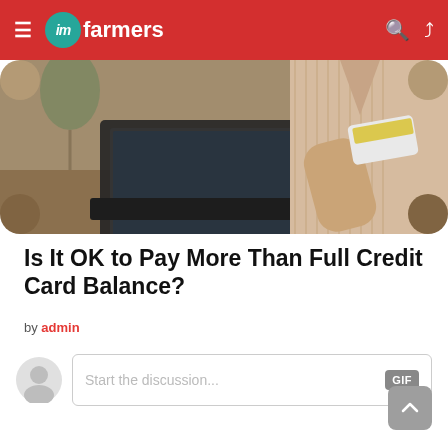im farmers
[Figure (photo): A woman sitting at a desk using a laptop while holding a credit card, photographed from mid-torso level in a home/cafe setting.]
Is It OK to Pay More Than Full Credit Card Balance?
by admin
[Figure (screenshot): Comment input box with placeholder text 'Start the discussion...' and a GIF button on the right, with a user avatar icon on the left.]